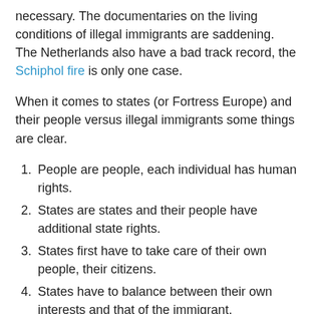necessary. The documentaries on the living conditions of illegal immigrants are saddening. The Netherlands also have a bad track record, the Schiphol fire is only one case.
When it comes to states (or Fortress Europe) and their people versus illegal immigrants some things are clear.
People are people, each individual has human rights.
States are states and their people have additional state rights.
States first have to take care of their own people, their citizens.
States have to balance between their own interests and that of the immigrant.
In the scope of the EU these four points and their current complexity have become even more complex. The EU